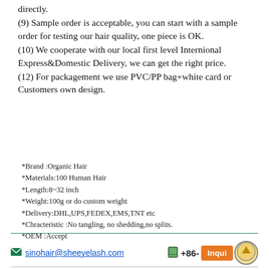directly.
(9) Sample order is acceptable, you can start with a sample order for testing our hair quality, one piece is OK.
(10) We cooperate with our local first level Internional Express&Domestic Delivery, we can get the right price.
(12) For packagement we use PVC/PP bag+white card or Customers own design.
*Brand :Organic Hair
*Materials:100 Human Hair
*Length:8~32 inch
*Weight:100g or do custom weight
*Delivery:DHL,UPS,FEDEX,EMS,TNT etc
*Chracteristic :No tangling, no shedding,no splits.
*OEM :Accept
sinohair@sheeyelash.com   +86-
Inquire